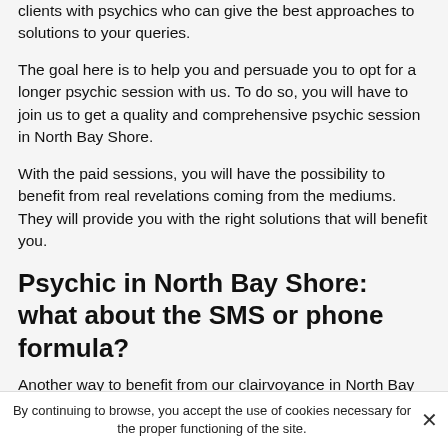clients with psychics who can give the best approaches to solutions to your queries.
The goal here is to help you and persuade you to opt for a longer psychic session with us. To do so, you will have to join us to get a quality and comprehensive psychic session in North Bay Shore.
With the paid sessions, you will have the possibility to benefit from real revelations coming from the mediums. They will provide you with the right solutions that will benefit you.
Psychic in North Bay Shore: what about the SMS or phone formula?
Another way to benefit from our clairvoyance in North Bay Shore is to contact us by SMS or by phone and then
By continuing to browse, you accept the use of cookies necessary for the proper functioning of the site.